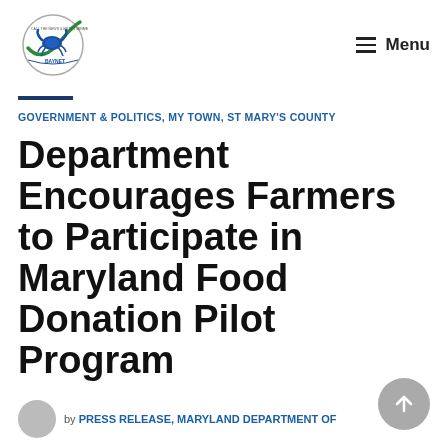Menu
[Figure (logo): The Baynet logo — circular crest with blue crab and globe]
GOVERNMENT & POLITICS, MY TOWN, ST MARY'S COUNTY
Department Encourages Farmers to Participate in Maryland Food Donation Pilot Program
by PRESS RELEASE, MARYLAND DEPARTMENT OF